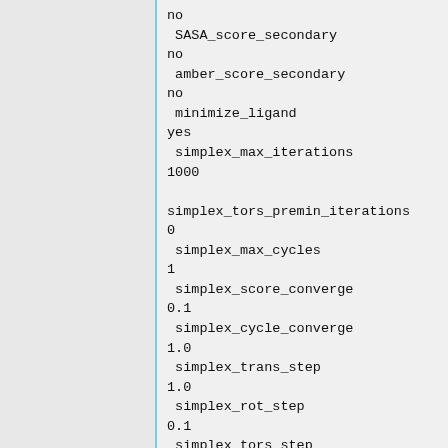no
 SASA_score_secondary
no
 amber_score_secondary
no
 minimize_ligand
yes
 simplex_max_iterations
1000

simplex_tors_premin_iterations
0
 simplex_max_cycles
1
 simplex_score_converge
0.1
 simplex_cycle_converge
1.0
 simplex_trans_step
1.0
 simplex_rot_step
0.1
 simplex_tors_step
10.0
 simplex_random_seed